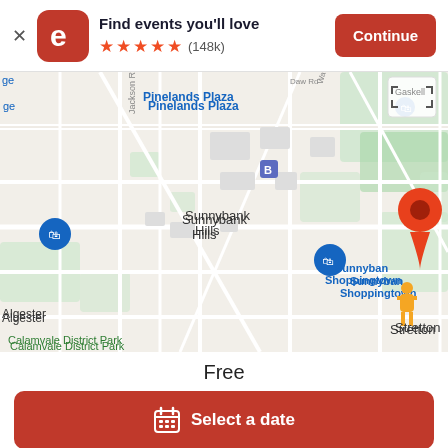[Figure (screenshot): App install banner for Eventbrite showing logo, title 'Find events you'll love', 5 star rating (148k reviews), and Continue button]
[Figure (map): Google Maps screenshot showing Sunnybank Hills area in Brisbane Australia with an orange location pin near Sunnybank Hills Shoppingtown. Visible places include Pinelands Plaza, Runcorn, Kuraby, Algester, Stretton, Calamvale District Park.]
Free
[Figure (infographic): Select a date button in dark red/orange with calendar icon]